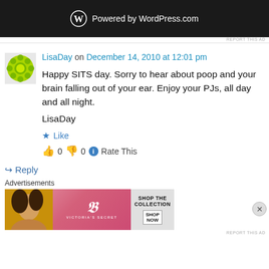[Figure (screenshot): WordPress.com powered by banner - dark background with WordPress logo and text]
REPORT THIS AD
LisaDay on December 14, 2010 at 12:01 pm
Happy SITS day. Sorry to hear about poop and your brain falling out of your ear. Enjoy your PJs, all day and all night.

LisaDay
★ Like
👍 0  👎 0  ℹ Rate This
↪ Reply
Advertisements
[Figure (screenshot): Victoria's Secret advertisement banner - Shop The Collection, Shop Now]